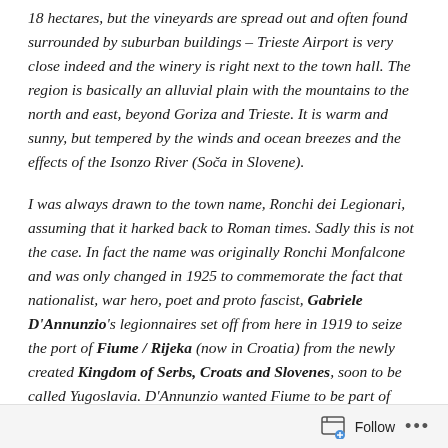18 hectares, but the vineyards are spread out and often found surrounded by suburban buildings – Trieste Airport is very close indeed and the winery is right next to the town hall. The region is basically an alluvial plain with the mountains to the north and east, beyond Goriza and Trieste. It is warm and sunny, but tempered by the winds and ocean breezes and the effects of the Isonzo River (Soča in Slovene).
I was always drawn to the town name, Ronchi dei Legionari, assuming that it harked back to Roman times. Sadly this is not the case. In fact the name was originally Ronchi Monfalcone and was only changed in 1925 to commemorate the fact that nationalist, war hero, poet and proto fascist, Gabriele D'Annunzio's legionnaires set off from here in 1919 to seize the port of Fiume / Rijeka (now in Croatia) from the newly created Kingdom of Serbs, Croats and Slovenes, soon to be called Yugoslavia. D'Annunzio wanted Fiume to be part of Italy, as was
Follow